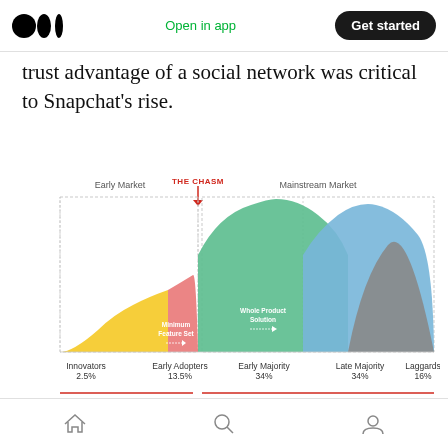Medium logo | Open in app | Get started
trust advantage of a social network was critical to Snapchat's rise.
[Figure (continuous-plot): Technology adoption lifecycle bell curve diagram showing 'The Chasm' between Early Market and Mainstream Market. Five segments: Innovators 2.5% (yellow), Early Adopters 13.5% (red/pink, labeled 'Minimum Feature Set'), Early Majority 34% (green, labeled 'Whole Product Solution'), Late Majority 34% (blue), Laggards 16% (gray). A red arrow labeled 'THE CHASM' points down between Early Adopters and Early Majority.]
Navigation bar with home, search, and profile icons